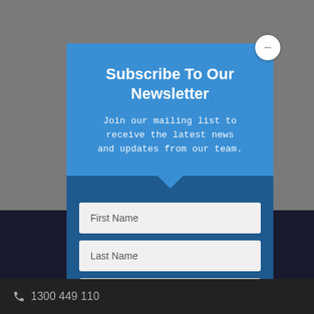Subscribe To Our Newsletter
Join our mailing list to receive the latest news and updates from our team.
First Name
Last Name
Email
1300 449 110